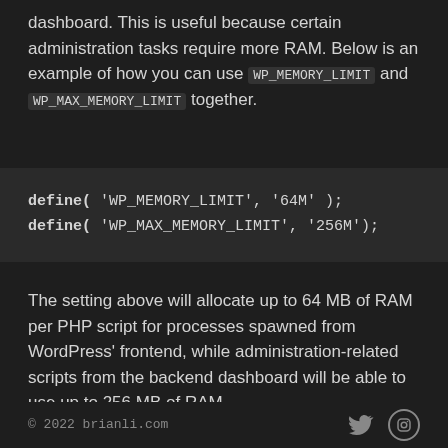dashboard. This is useful because certain administration tasks require more RAM. Below is an example of how you can use WP_MEMORY_LIMIT and WP_MAX_MEMORY_LIMIT together.
The setting above will allocate up to 64 MB of RAM per PHP script for processes spawned from WordPress' frontend, while administration-related scripts from the backend dashboard will be able to use up to 256 MB of RAM.
© 2022 brianli.com